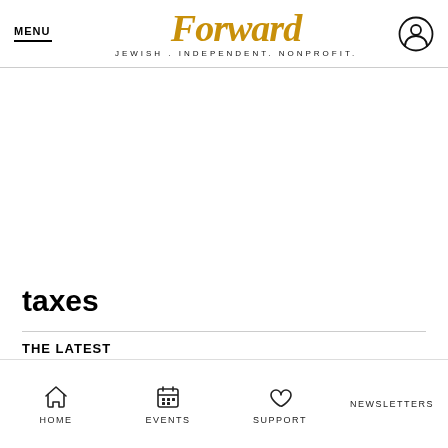MENU | Forward JEWISH. INDEPENDENT. NONPROFIT.
taxes
THE LATEST
HOME  EVENTS  SUPPORT  NEWSLETTERS